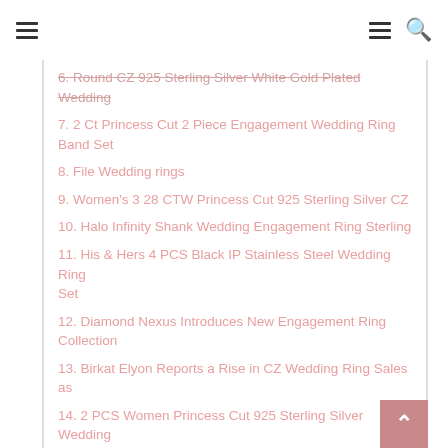6. Round CZ 925 Sterling Silver White Gold Plated Wedding
7. 2 Ct Princess Cut 2 Piece Engagement Wedding Ring Band Set
8. File Wedding rings
9. Women's 3 28 CTW Princess Cut 925 Sterling Silver CZ
10. Halo Infinity Shank Wedding Engagement Ring Sterling
11. His & Hers 4 PCS Black IP Stainless Steel Wedding Ring Set
12. Diamond Nexus Introduces New Engagement Ring Collection
13. Birkat Elyon Reports a Rise in CZ Wedding Ring Sales as
14. 2 PCS Women Princess Cut 925 Sterling Silver Wedding
15. Splendent White Stone Stylish Jewelry Women Men Wedding
16. Heart Shaped Engagement Rings
17. Women s 925 Sterling Silver Princess Cut CZ Wedding Ring